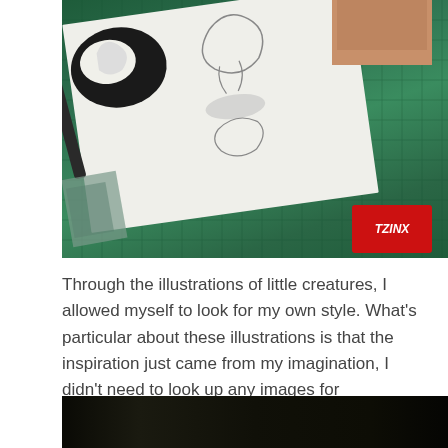[Figure (photo): A photo of an artist's workspace on a green cutting mat. Hands are working on illustrations of creatures. There is a red TZINX ink pad in the bottom right corner and art supplies visible.]
Through the illustrations of little creatures, I allowed myself to look for my own style. What's particular about these illustrations is that the inspiration just came from my imagination, I didn't need to look up any images for reference. I always liked to observe animals and when working on the Perfect Creatures project (find more info below) I realised that I already have a lot of images stored in my head and now they were coming out in a creative flow...
[Figure (photo): Bottom portion of a dark photograph, appears to be a dimly lit scene.]